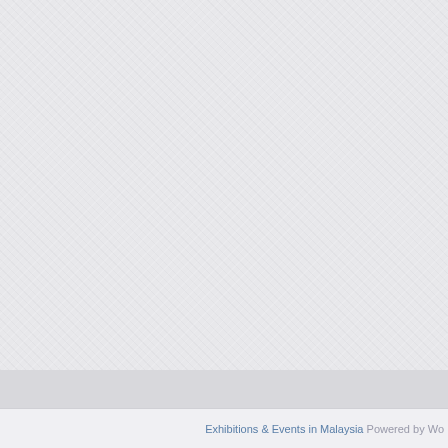[Figure (other): Large light grey textured background area filling the upper portion of the page]
Exhibitions & Events in Malaysia Powered by Wo